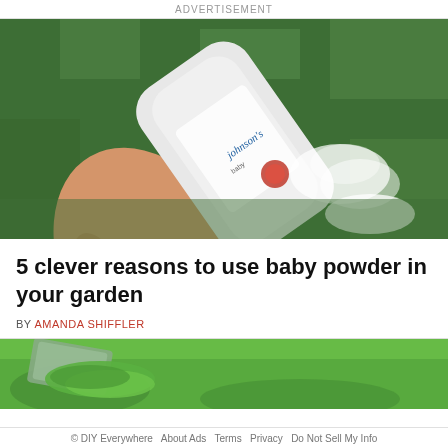ADVERTISEMENT
[Figure (photo): A hand holding a Johnson's Baby Powder bottle and sprinkling powder onto green grass outdoors.]
5 clever reasons to use baby powder in your garden
BY AMANDA SHIFFLER
[Figure (photo): Close-up of green cut grass on a lawn with what appears to be a garden tool or shovel.]
© DIY Everywhere   About Ads   Terms   Privacy   Do Not Sell My Info